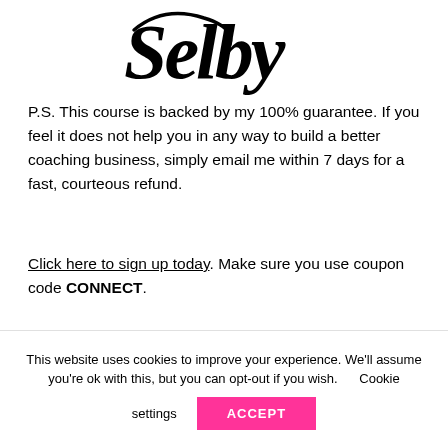[Figure (illustration): Cursive handwritten signature reading 'Selby' in black ink]
P.S. This course is backed by my 100% guarantee. If you feel it does not help you in any way to build a better coaching business, simply email me within 7 days for a fast, courteous refund.
Click here to sign up today. Make sure you use coupon code CONNECT.
Privacy Policy | Terms of Use | Disclaimer
This website uses cookies to improve your experience. We'll assume you're ok with this, but you can opt-out if you wish.      Cookie settings    ACCEPT